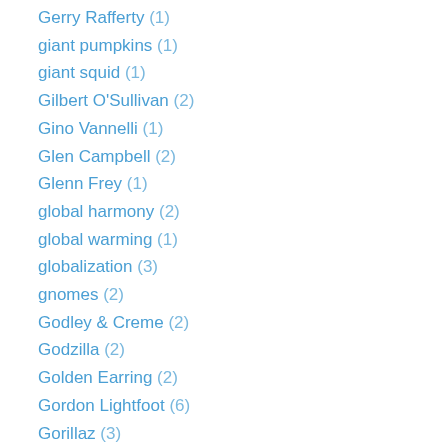Gerry Rafferty (1)
giant pumpkins (1)
giant squid (1)
Gilbert O'Sullivan (2)
Gino Vannelli (1)
Glen Campbell (2)
Glenn Frey (1)
global harmony (2)
global warming (1)
globalization (3)
gnomes (2)
Godley & Creme (2)
Godzilla (2)
Golden Earring (2)
Gordon Lightfoot (6)
Gorillaz (3)
Graham Parker (1)
Grammy Awards (1)
Grateful Dead (1)
gratitude (5)